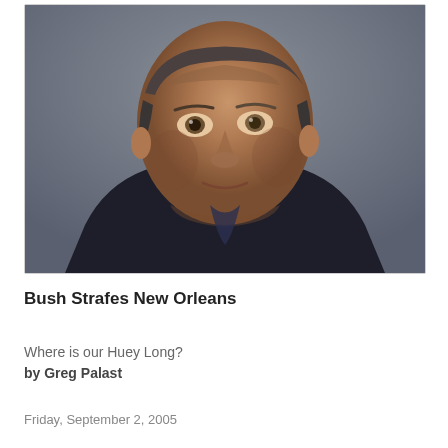[Figure (photo): Close-up portrait photo of a middle-aged man with short grey-brown hair, looking slightly to the left of camera, wearing a dark jacket, against a grey background. The photo is in color.]
Bush Strafes New Orleans
Where is our Huey Long?
by Greg Palast
Friday, September 2, 2005